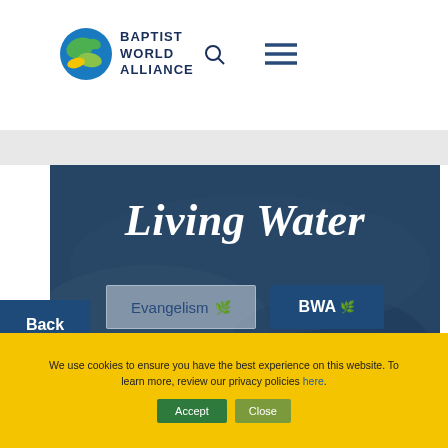[Figure (logo): Baptist World Alliance globe logo with green, blue and yellow colors, alongside text reading BAPTIST WORLD ALLIANCE, with a search icon and hamburger menu icon]
[Figure (screenshot): Website screenshot showing a hero banner with dark blue overlay and blurred background of hands at a laptop. Text reads 'Living Water'. Three button tags: Evangelism (with leaf icon), BWA (with leaf icon), Leadership (with leaf icon). A dark blue Back button on the left side.]
We use cookies to ensure you have the best experience on this website. To learn more, review our privacy policies here.
Accept   Close